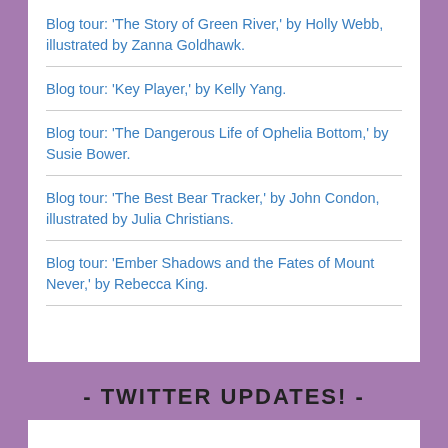Blog tour: 'The Story of Green River,' by Holly Webb, illustrated by Zanna Goldhawk.
Blog tour: 'Key Player,' by Kelly Yang.
Blog tour: 'The Dangerous Life of Ophelia Bottom,' by Susie Bower.
Blog tour: 'The Best Bear Tracker,' by John Condon, illustrated by Julia Christians.
Blog tour: 'Ember Shadows and the Fates of Mount Never,' by Rebecca King.
- TWITTER UPDATES! -